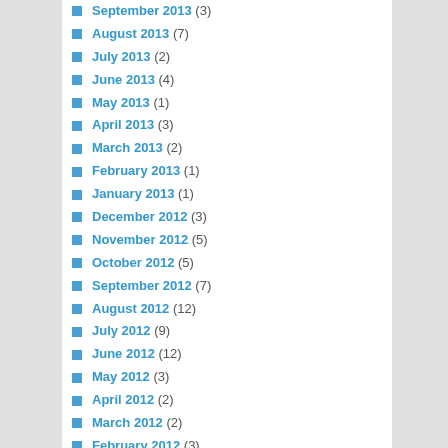September 2013 (3)
August 2013 (7)
July 2013 (2)
June 2013 (4)
May 2013 (1)
April 2013 (3)
March 2013 (2)
February 2013 (1)
January 2013 (1)
December 2012 (3)
November 2012 (5)
October 2012 (5)
September 2012 (7)
August 2012 (12)
July 2012 (9)
June 2012 (12)
May 2012 (3)
April 2012 (2)
March 2012 (2)
February 2012 (3)
January 2012 (1)